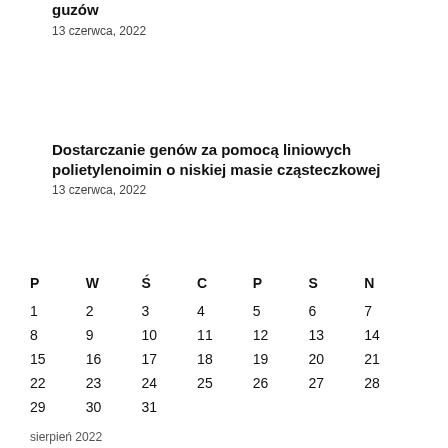guzów
13 czerwca, 2022
Dostarczanie genów za pomocą liniowych polietylenoimin o niskiej masie cząsteczkowej
13 czerwca, 2022
| P | W | Ś | C | P | S | N |
| --- | --- | --- | --- | --- | --- | --- |
| 1 | 2 | 3 | 4 | 5 | 6 | 7 |
| 8 | 9 | 10 | 11 | 12 | 13 | 14 |
| 15 | 16 | 17 | 18 | 19 | 20 | 21 |
| 22 | 23 | 24 | 25 | 26 | 27 | 28 |
| 29 | 30 | 31 |  |  |  |  |
sierpień 2022